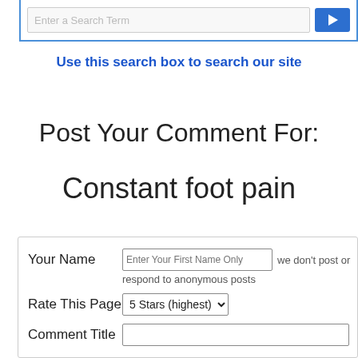[Figure (screenshot): Search box with blue border, text input field with placeholder text, and blue search button with arrow icon]
Use this search box to search our site
Post Your Comment For:
Constant foot pain
Your Name  Enter Your First Name Only  we don't post or respond to anonymous posts
Rate This Page  5 Stars (highest)
Comment Title